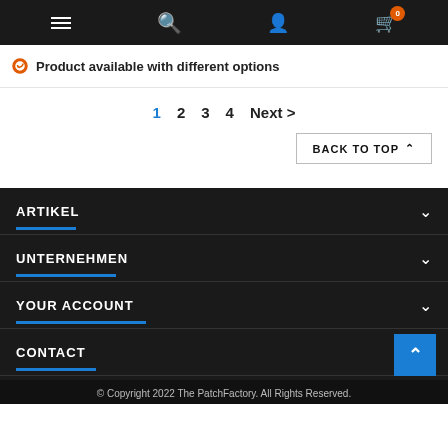Navigation bar with hamburger menu, search, user, and cart (0) icons
Product available with different options
1 2 3 4 Next >
BACK TO TOP ^
ARTIKEL
UNTERNEHMEN
YOUR ACCOUNT
CONTACT
© Copyright 2022 The PatchFactory. All Rights Reserved.